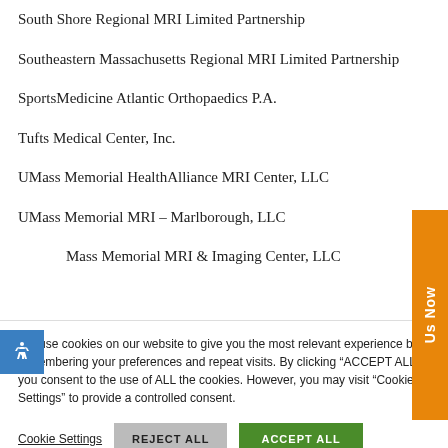South Shore Regional MRI Limited Partnership
Southeastern Massachusetts Regional MRI Limited Partnership
SportsMedicine Atlantic Orthopaedics P.A.
Tufts Medical Center, Inc.
UMass Memorial HealthAlliance MRI Center, LLC
UMass Memorial MRI – Marlborough, LLC
UMass Memorial MRI & Imaging Center, LLC
We use cookies on our website to give you the most relevant experience by remembering your preferences and repeat visits. By clicking “ACCEPT ALL”, you consent to the use of ALL the cookies. However, you may visit “Cookie Settings” to provide a controlled consent.